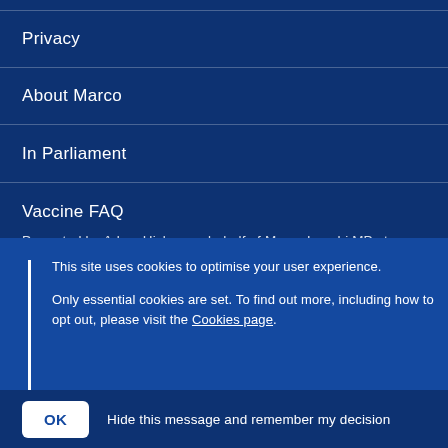Privacy
About Marco
In Parliament
Vaccine FAQ
Promoted by Adam Hicken on behalf of Marco Longhi MP at
This site uses cookies to optimise your user experience.
Only essential cookies are set. To find out more, including how to opt out, please visit the Cookies page.
OK   Hide this message and remember my decision